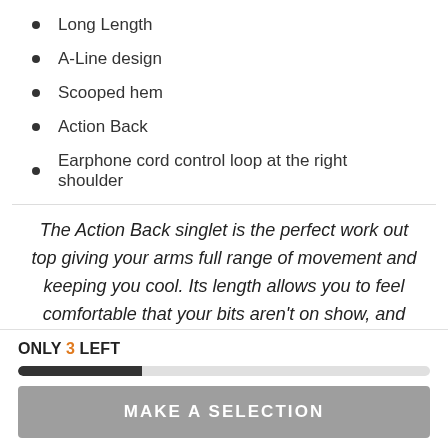Long Length
A-Line design
Scooped hem
Action Back
Earphone cord control loop at the right shoulder
The Action Back singlet is the perfect work out top giving your arms full range of movement and keeping you cool. Its length allows you to feel comfortable that your bits aren't on show, and the A-Line design prevents it from grabbing your hips. We understand that some people like them tighter or looser, so Upsize for a looser fit,
ONLY 3 LEFT
MAKE A SELECTION